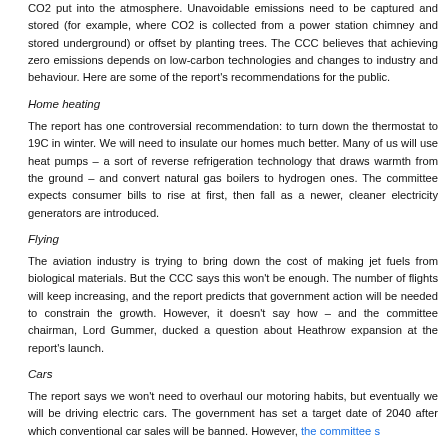CO2 put into the atmosphere. Unavoidable emissions need to be captured and stored (for example, where CO2 is collected from a power station chimney and stored underground) or offset by planting trees. The CCC believes that achieving zero emissions depends on low-carbon technologies and changes to industry and behaviour. Here are some of the report's recommendations for the public.
Home heating
The report has one controversial recommendation: to turn down the thermostat to 19C in winter. We will need to insulate our homes much better. Many of us will use heat pumps – a sort of reverse refrigeration technology that draws warmth from the ground – and convert natural gas boilers to hydrogen ones. The committee expects consumer bills to rise at first, then fall as a newer, cleaner electricity generators are introduced.
Flying
The aviation industry is trying to bring down the cost of making jet fuels from biological materials. But the CCC says this won't be enough. The number of flights will keep increasing, and the report predicts that government action will be needed to constrain the growth. However, it doesn't say how – and the committee chairman, Lord Gummer, ducked a question about Heathrow expansion at the report's launch.
Cars
The report says we won't need to overhaul our motoring habits, but eventually we will be driving electric cars. The government has set a target date of 2040 after which conventional car sales will be banned. However, the committee s